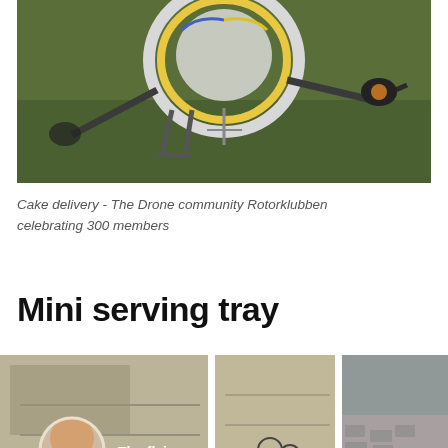[Figure (photo): Close-up of a drone with a round yellow and white ring on top, carbon fiber arms, sitting on green grass in the background.]
Cake delivery - The Drone community Rotorklubben celebrating 300 members
Mini serving tray
[Figure (screenshot): Video thumbnail showing 'The flying serving tray' with a person in a circular inset image on the left, comic-book style illustrated panels on the right, and a YouTube play button at the bottom center.]